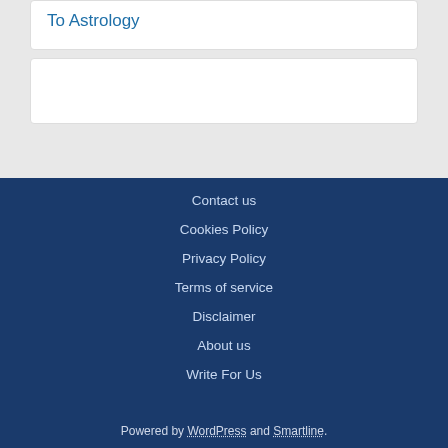To Astrology
Contact us
Cookies Policy
Privacy Policy
Terms of service
Disclaimer
About us
Write For Us
Powered by WordPress and Smartline.